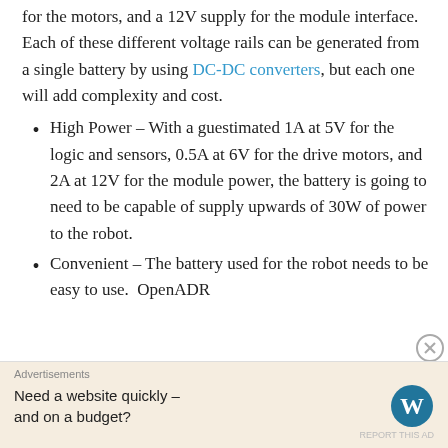for the motors, and a 12V supply for the module interface.  Each of these different voltage rails can be generated from a single battery by using DC-DC converters, but each one will add complexity and cost.
High Power – With a guestimated 1A at 5V for the logic and sensors, 0.5A at 6V for the drive motors, and 2A at 12V for the module power, the battery is going to need to be capable of supply upwards of 30W of power to the robot.
Convenient – The battery used for the robot needs to be easy to use.  OpenADR
Advertisements
Need a website quickly – and on a budget?